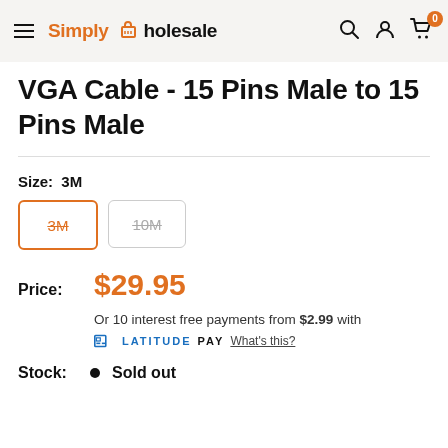Simply Wholesale — navigation bar with search, account, cart icons
VGA Cable - 15 Pins Male to 15 Pins Male
Size: 3M
Size options: 3M (selected), 10M
Price: $29.95
Or 10 interest free payments from $2.99 with LATITUDE PAY What's this?
Stock: Sold out